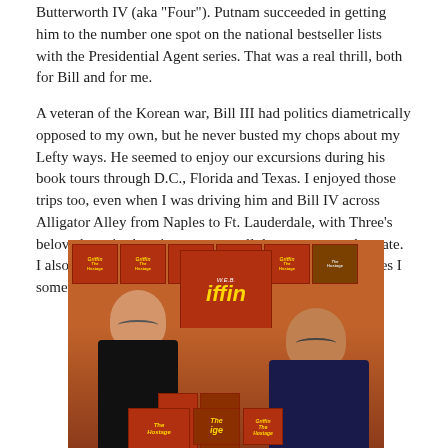Butterworth IV (aka 'Four'). Putnam succeeded in getting him to the number one spot on the national bestseller lists with the Presidential Agent series. That was a real thrill, both for Bill and for me.
A veteran of the Korean war, Bill III had politics diametrically opposed to my own, but he never busted my chops about my Lefty ways. He seemed to enjoy our excursions during his book tours through D.C., Florida and Texas. I enjoyed those trips too, even when I was driving him and Bill IV across Alligator Alley from Naples to Ft. Lauderdale, with Three's beloved stogies burning non-stop all the way across the state. I also learned that Bill was a true wine maven. Those wines I sometime sampled, but I passed on the cigars.
[Figure (photo): Two men standing in front of a display of W.E.B. Griffin 'The Hostage' book covers. The man on the left is tall, wearing a black shirt and glasses. The man on the right is shorter, wearing a dark blue sweater and glasses, smiling. A large sign reading 'Griffin' and 'iffin' is visible behind them. Multiple book covers with red backgrounds and the title 'The Hostage' are displayed on shelves and posters.]